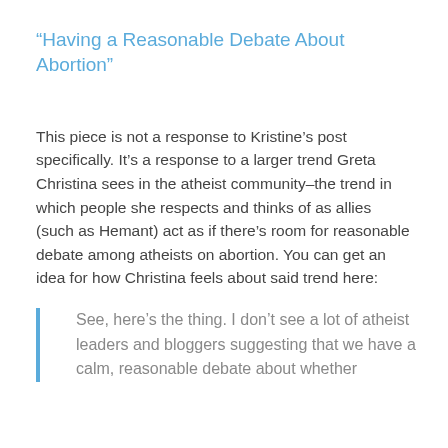“Having a Reasonable Debate About Abortion”
This piece is not a response to Kristine’s post specifically. It’s a response to a larger trend Greta Christina sees in the atheist community–the trend in which people she respects and thinks of as allies (such as Hemant) act as if there’s room for reasonable debate among atheists on abortion. You can get an idea for how Christina feels about said trend here:
See, here’s the thing. I don’t see a lot of atheist leaders and bloggers suggesting that we have a calm, reasonable debate about whether